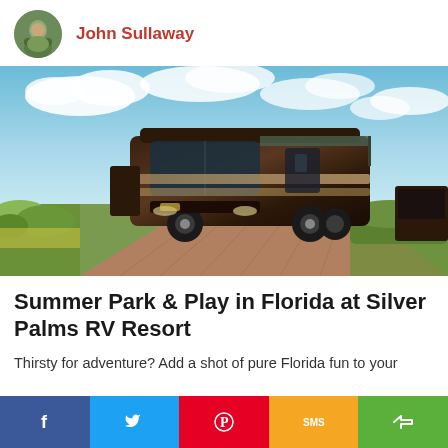John Sullaway
[Figure (photo): A large luxury RV motorhome parked on a brick paved driveway at Silver Palms RV Resort in Florida, surrounded by palm trees, green hedges, and bright blue sky with clouds.]
Summer Park & Play in Florida at Silver Palms RV Resort
Thirsty for adventure? Add a shot of pure Florida fun to your